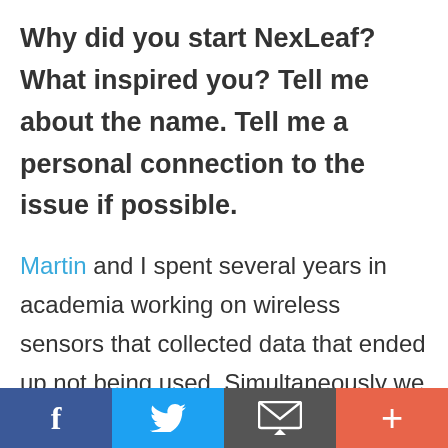Why did you start NexLeaf? What inspired you? Tell me about the name. Tell me a personal connection to the issue if possible.
Martin and I spent several years in academia working on wireless sensors that collected data that ended up not being used. Simultaneously we saw public health potential in the developing
[Figure (other): Social sharing bar with four buttons: Facebook (blue), Twitter (light blue), Email (dark gray), and Plus/share (red-orange)]